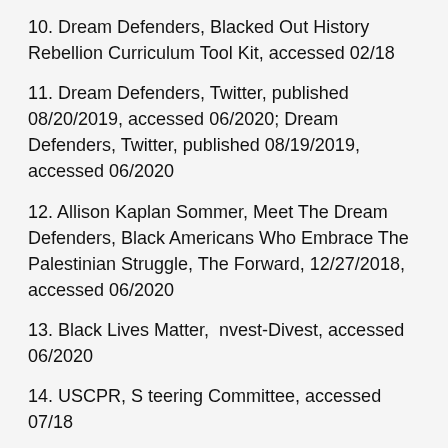10. Dream Defenders, Blacked Out History Rebellion Curriculum Tool Kit, accessed 02/18
11. Dream Defenders, Twitter, published 08/20/2019, accessed 06/2020; Dream Defenders, Twitter, published 08/19/2019, accessed 06/2020
12. Allison Kaplan Sommer, Meet The Dream Defenders, Black Americans Who Embrace The Palestinian Struggle, The Forward, 12/27/2018, accessed 06/2020
13. Black Lives Matter,  nvest-Divest, accessed 06/2020
14. USCPR, S teering Committee, accessed 07/18
15. Deadly Exchange, C ampaign Advisory Team Members, accessed 06/2020
16 Jewish Voice for Peace, Facebook, published 04/17/18, accessed 06/2020;